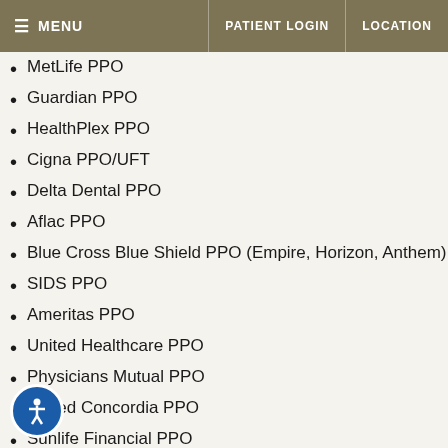MENU | PATIENT LOGIN | LOCATION
MetLife PPO
Guardian PPO
HealthPlex PPO
Cigna PPO/UFT
Delta Dental PPO
Aflac PPO
Blue Cross Blue Shield PPO (Empire, Horizon, Anthem)
SIDS PPO
Ameritas PPO
United Healthcare PPO
Physicians Mutual PPO
United Concordia PPO
Sunlife Financial PPO
GE Financial PPO
Jardine Group PPO
Pomco PPO
Aon Dental Solutions PPO
Lincoln Financial PPO
e Credit or Alphaeon